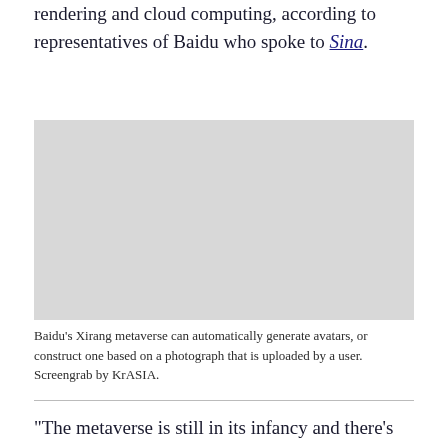rendering and cloud computing, according to representatives of Baidu who spoke to Sina.
[Figure (screenshot): Screenshot of Baidu's Xirang metaverse platform showing avatar generation interface.]
Baidu's Xirang metaverse can automatically generate avatars, or construct one based on a photograph that is uploaded by a user. Screengrab by KrASIA.
“The metaverse is still in its infancy and there’s still a long way to go,” Baidu vice president Ma Jie said at a VR forum in October. “We need